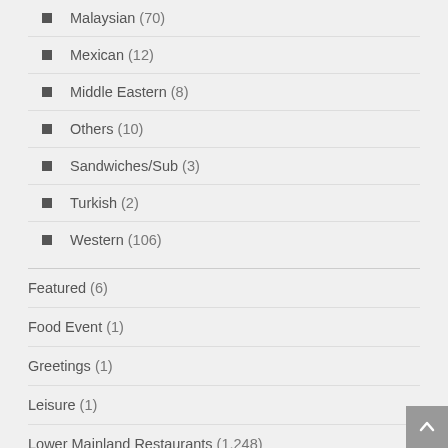Malaysian (70)
Mexican (12)
Middle Eastern (8)
Others (10)
Sandwiches/Sub (3)
Turkish (2)
Western (106)
Featured (6)
Food Event (1)
Greetings (1)
Leisure (1)
Lower Mainland Restaurants (1,248)